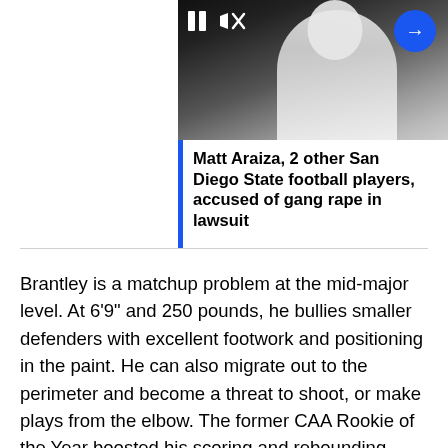[Figure (screenshot): Video thumbnail showing a person in a white t-shirt against a dark background, with pause and mute icons in the top-left and a blue arrow button in the top-right]
Matt Araiza, 2 other San Diego State football players, accused of gang rape in lawsuit
Brantley is a matchup problem at the mid-major level. At 6'9" and 250 pounds, he bullies smaller defenders with excellent footwork and positioning in the paint. He can also migrate out to the perimeter and become a threat to shoot, or make plays from the elbow. The former CAA Rookie of the Year boosted his scoring and rebounding numbers, and can still improve on the flashes he's shown as a passer. That versatility helps make Charleston a favorite, and Brantley one of the best bigs in the conference.